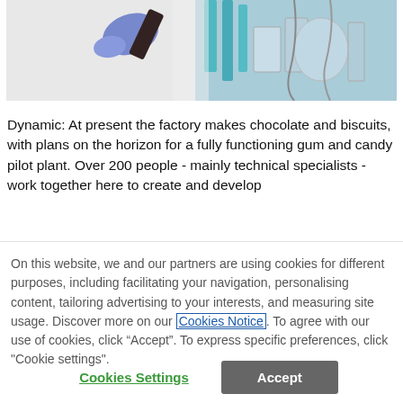[Figure (photo): Laboratory photo showing a person in a white lab coat and blue gloves working with equipment; lab apparatus and teal/turquoise items visible in background]
Dynamic: At present the factory makes chocolate and biscuits, with plans on the horizon for a fully functioning gum and candy pilot plant. Over 200 people - mainly technical specialists - work together here to create and develop
On this website, we and our partners are using cookies for different purposes, including facilitating your navigation, personalising content, tailoring advertising to your interests, and measuring site usage. Discover more on our Cookies Notice. To agree with our use of cookies, click “Accept”. To express specific preferences, click "Cookie settings".
Cookies Settings
Accept